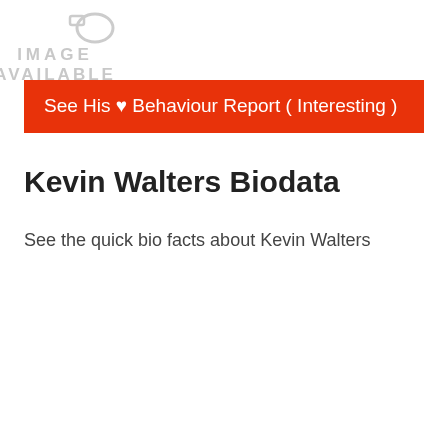[Figure (other): Placeholder image with text 'IMAGE AVAILABLE' in light gray]
See His ♥ Behaviour Report ( Interesting )
Kevin Walters Biodata
See the quick bio facts about Kevin Walters